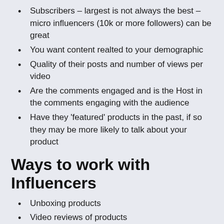Subscribers – largest is not always the best – micro influencers (10k or more followers) can be great
You want content realted to your demographic
Quality of their posts and number of views per video
Are the comments engaged and is the Host in the comments engaging with the audience
Have they 'featured' products in the past, if so they may be more likely to talk about your product
Ways to work with Influencers
Unboxing products
Video reviews of products
Getting their audience involved is what you want
How to approach Influencers
Simple as striking up a conversation as if you met in the real world not on line